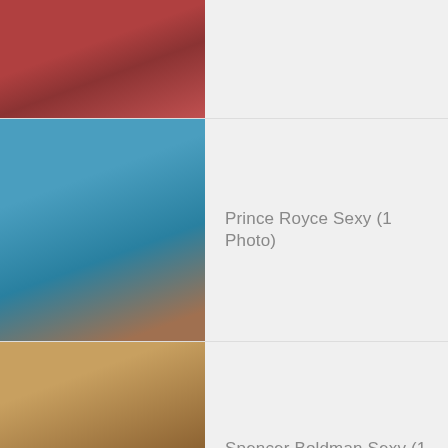[Figure (photo): Partial view of a man at the beach in red swim shorts, cropped at top]
Prince Royce Sexy (1 Photo)
[Figure (photo): Man standing on a boat with ocean in background, shirtless in teal shorts]
Spencer Boldman Sexy (1 Photo)
[Figure (photo): Muscular man taking a mirror selfie in white underwear]
Donny Montell Sexy (1 Photo)
[Figure (photo): Man with arms raised showing tattoos in warm golden tones]
Donald Glover Sexy (1 Photo)
[Figure (photo): Man in yellow shorts and cap standing on a street]